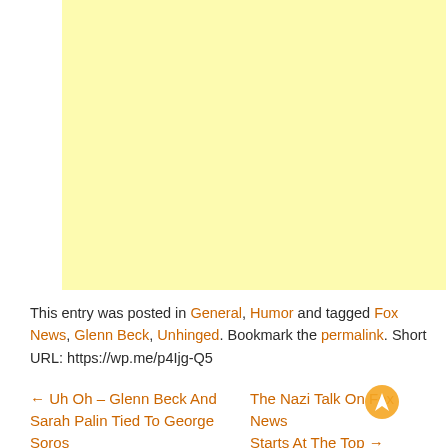[Figure (other): Yellow/cream colored advertisement placeholder block]
This entry was posted in General, Humor and tagged Fox News, Glenn Beck, Unhinged. Bookmark the permalink. Short URL: https://wp.me/p4Ijg-Q5
← Uh Oh – Glenn Beck And Sarah Palin Tied To George Soros
The Nazi Talk On Fox News Starts At The Top →